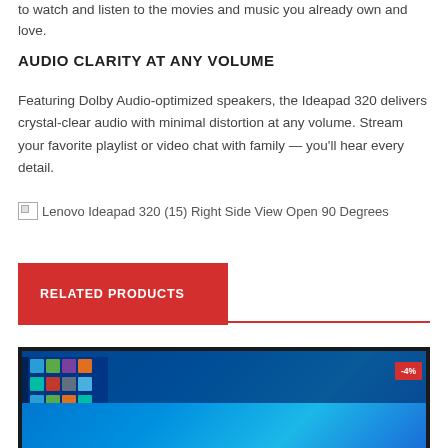to watch and listen to the movies and music you already own and love.
AUDIO CLARITY AT ANY VOLUME
Featuring Dolby Audio-optimized speakers, the Ideapad 320 delivers crystal-clear audio with minimal distortion at any volume. Stream your favorite playlist or video chat with family — you'll hear every detail.
[Figure (photo): Broken image placeholder: Lenovo Ideapad 320 (15) Right Side View Open 90 Degrees]
RELATED PRODUCTS
[Figure (photo): Laptop product photo showing Windows 10 start menu on blue background, with a -4% discount badge in the top right corner]